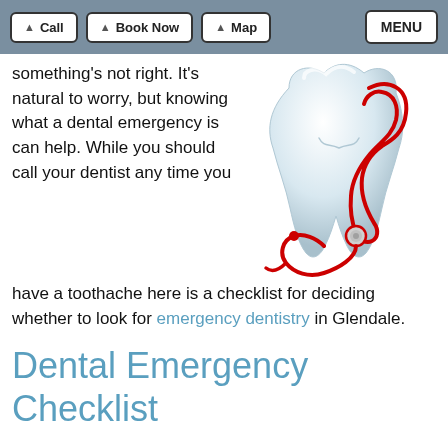Call | Book Now | Map | MENU
something's not right. It's natural to worry, but knowing what a dental emergency is can help. While you should call your dentist any time you have a toothache here is a checklist for deciding whether to look for emergency dentistry in Glendale.
[Figure (illustration): A white molar tooth with a red stethoscope wrapped around it, on a white background.]
Dental Emergency Checklist